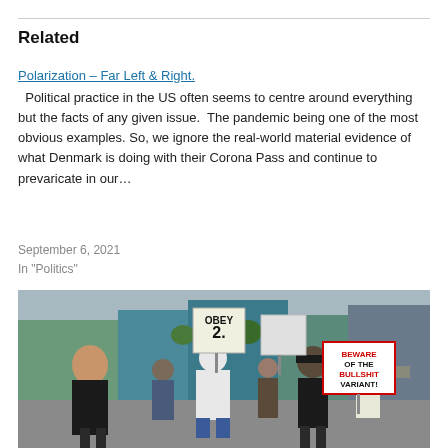Related
Polarization – Far Left & Right.
Political practice in the US often seems to centre around everything but the facts of any given issue.  The pandemic being one of the most obvious examples. So, we ignore the real-world material evidence of what Denmark is doing with their Corona Pass and continue to prevaricate in our…
September 6, 2021
In "Politics"
[Figure (photo): Outdoor protest march with people carrying signs including 'OBEY 2.' and 'BEWARE OF THE BULLSHIT VARIANT!' One person is wearing a white hazmat suit. Urban street setting with trees and storefronts in background.]